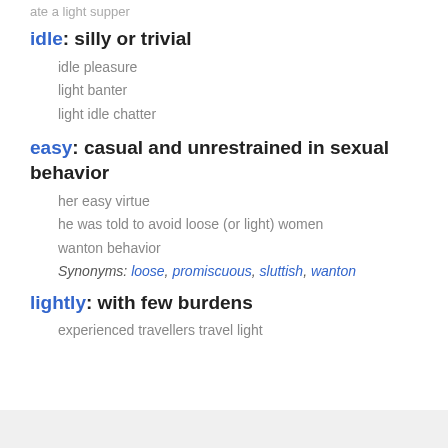ate a light supper
idle: silly or trivial
idle pleasure
light banter
light idle chatter
easy: casual and unrestrained in sexual behavior
her easy virtue
he was told to avoid loose (or light) women
wanton behavior
Synonyms: loose, promiscuous, sluttish, wanton
lightly: with few burdens
experienced travellers travel light